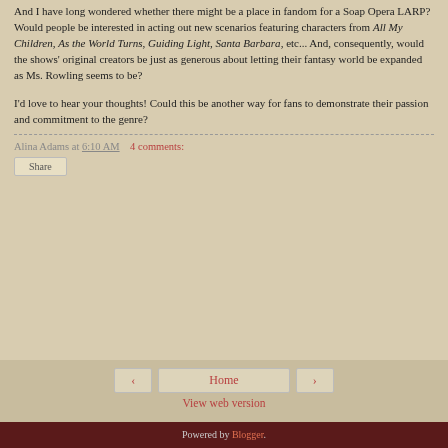And I have long wondered whether there might be a place in fandom for a Soap Opera LARP? Would people be interested in acting out new scenarios featuring characters from All My Children, As the World Turns, Guiding Light, Santa Barbara, etc... And, consequently, would the shows' original creators be just as generous about letting their fantasy world be expanded as Ms. Rowling seems to be?
I'd love to hear your thoughts! Could this be another way for fans to demonstrate their passion and commitment to the genre?
Alina Adams at 6:10 AM   4 comments:
Share
Home
View web version
Powered by Blogger.